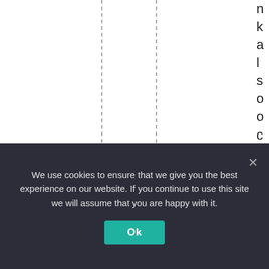[Figure (other): Partial table or chart with two vertical dashed column separator lines. Vertical text reading 'nkalsooccurredduri' is visible along the right edge, each letter on its own line, suggesting a rotated column header that has been clipped.]
We use cookies to ensure that we give you the best experience on our website. If you continue to use this site we will assume that you are happy with it.
Ok